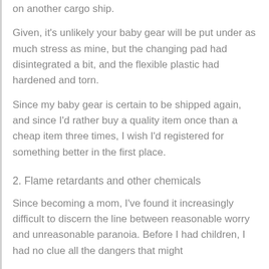on another cargo ship.
Given, it's unlikely your baby gear will be put under as much stress as mine, but the changing pad had disintegrated a bit, and the flexible plastic had hardened and torn.
Since my baby gear is certain to be shipped again, and since I'd rather buy a quality item once than a cheap item three times, I wish I'd registered for something better in the first place.
2. Flame retardants and other chemicals
Since becoming a mom, I've found it increasingly difficult to discern the line between reasonable worry and unreasonable paranoia. Before I had children, I had no clue all the dangers that might